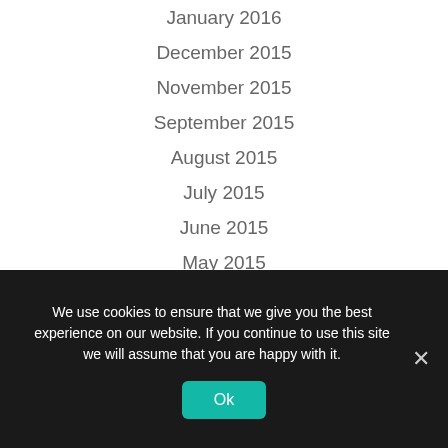January 2016
December 2015
November 2015
September 2015
August 2015
July 2015
June 2015
May 2015
April 2015
March 2015
February 2015
We use cookies to ensure that we give you the best experience on our website. If you continue to use this site we will assume that you are happy with it.